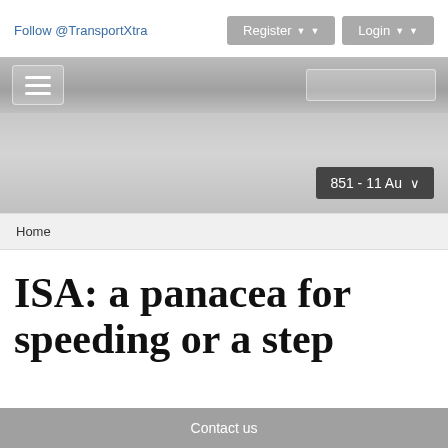Follow @TransportXtra
[Figure (screenshot): Navigation bar with hamburger menu icon and search box on grey gradient background]
[Figure (screenshot): Banner area with issue selector dropdown showing '851 - 11 Au' on dark background]
Home
ISA: a panacea for speeding or a step
Contact us